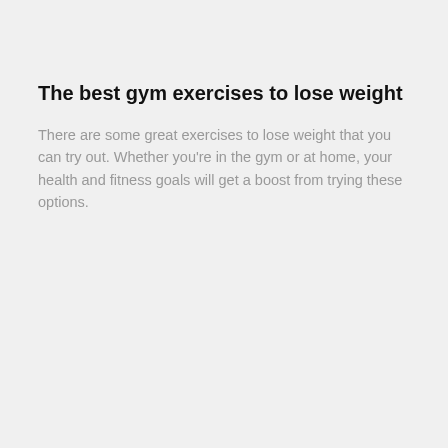The best gym exercises to lose weight
There are some great exercises to lose weight that you can try out. Whether you're in the gym or at home, your health and fitness goals will get a boost from trying these options.